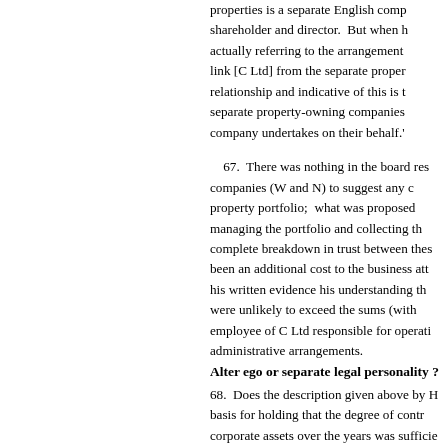properties is a separate English comp... shareholder and director. But when h actually referring to the arrangement... link [C Ltd] from the separate proper... relationship and indicative of this is t... separate property-owning companies... company undertakes on their behalf.'
67. There was nothing in the board res... companies (W and N) to suggest any c... property portfolio; what was proposed... managing the portfolio and collecting th... complete breakdown in trust between thes... been an additional cost to the business att... his written evidence his understanding th... were unlikely to exceed the sums (with... employee of C Ltd responsible for operati... administrative arrangements.
Alter ego or separate legal personality ?
68. Does the description given above by H basis for holding that the degree of contr... corporate assets over the years was sufficie... as to pierce the corporate veil? That argu... the decisions of both the Court of Appea... Resources Ltd and Others [2012] EWCA... 415. There is nothing in this case which s... this manner so as to evade an existing leg...